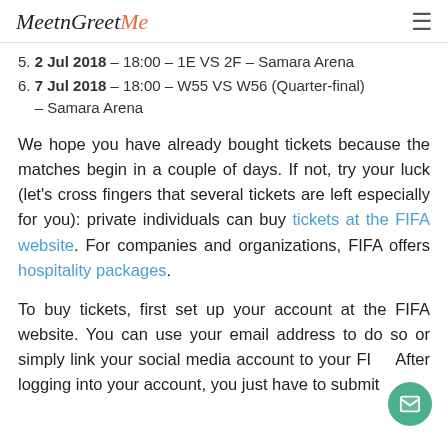MeetnGreetMe
5. 2 Jul 2018 – 18:00 – 1E VS 2F – Samara Arena
6. 7 Jul 2018 – 18:00 – W55 VS W56 (Quarter-final) – Samara Arena
We hope you have already bought tickets because the matches begin in a couple of days. If not, try your luck (let's cross fingers that several tickets are left especially for you): private individuals can buy tickets at the FIFA website. For companies and organizations, FIFA offers hospitality packages.
To buy tickets, first set up your account at the FIFA website. You can use your email address to do so or simply link your social media account to your FIFA. After logging into your account, you just have to submit